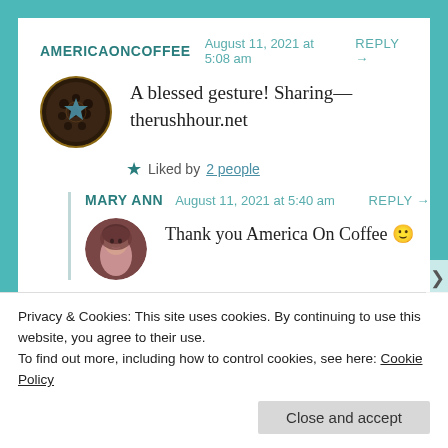AMERICAONCOFFEE   August 11, 2021 at 5:08 am   REPLY →
[Figure (photo): Round avatar photo showing coffee beans/dark roasted beans background for AmericaOnCoffee]
A blessed gesture! Sharing—therushhour.net
★ Liked by 2 people
MARY ANN   August 11, 2021 at 5:40 am   REPLY →
[Figure (photo): Round avatar photo of a woman with dark reddish-brown hair, Mary Ann]
Thank you America On Coffee 🙂
Privacy & Cookies: This site uses cookies. By continuing to use this website, you agree to their use.
To find out more, including how to control cookies, see here: Cookie Policy
Close and accept